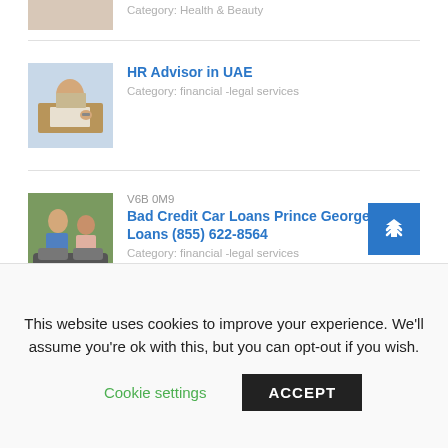Category: Health & Beauty
[Figure (photo): Person working at a desk with papers, wearing a watch — HR Advisor thumbnail]
HR Advisor in UAE
Category: financial -legal services
[Figure (photo): Couple smiling near a car — Bad Credit Car Loans thumbnail]
V6B 0M9
Bad Credit Car Loans Prince George | Title Loans (855) 622-8564
Category: financial -legal services
[Figure (photo): Person in suit — Management Consultant in Dubai thumbnail]
Management Consultant in Dubai
This website uses cookies to improve your experience. We'll assume you're ok with this, but you can opt-out if you wish.
Cookie settings   ACCEPT